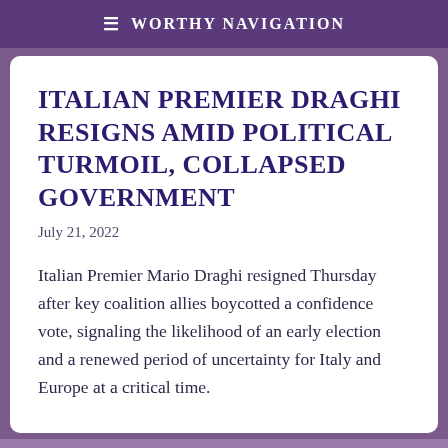≡ Worthy Navigation
Italian Premier Draghi resigns amid political turmoil, collapsed government
July 21, 2022
Italian Premier Mario Draghi resigned Thursday after key coalition allies boycotted a confidence vote, signaling the likelihood of an early election and a renewed period of uncertainty for Italy and Europe at a critical time.